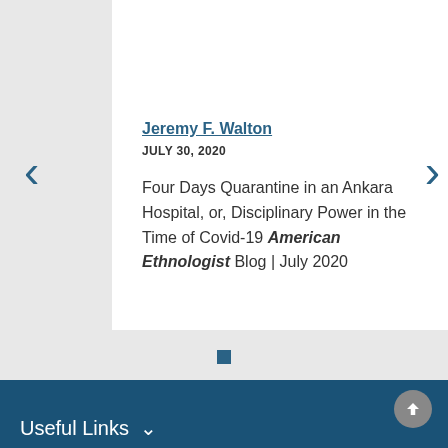Jeremy F. Walton
JULY 30, 2020
Four Days Quarantine in an Ankara Hospital, or, Disciplinary Power in the Time of Covid-19 American Ethnologist Blog | July 2020
Useful Links